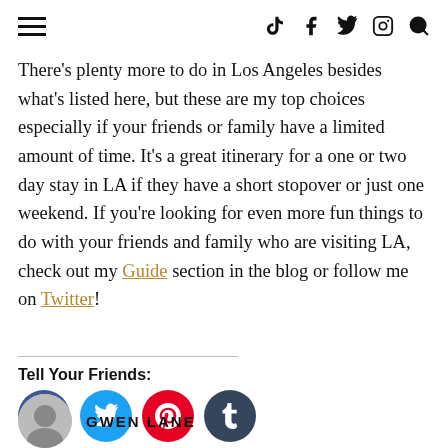≡  TikTok  Facebook  Twitter  Instagram  Search
There's plenty more to do in Los Angeles besides what's listed here, but these are my top choices especially if your friends or family have a limited amount of time. It's a great itinerary for a one or two day stay in LA if they have a short stopover or just one weekend. If you're looking for even more fun things to do with your friends and family who are visiting LA, check out my Guide section in the blog or follow me on Twitter!
Tell Your Friends:
[Figure (other): Social share buttons: Facebook (blue circle), Twitter (cyan circle), Pinterest (red circle), Tumblr (dark navy circle)]
GWEN LANE